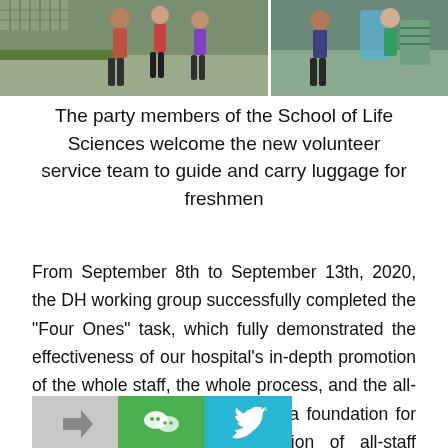[Figure (photo): Two side-by-side photographs showing party members of the School of Life Sciences welcoming new volunteer service team and freshmen on campus]
The party members of the School of Life Sciences welcome the new volunteer service team to guide and carry luggage for freshmen
From September 8th to September 13th, 2020, the DH working group successfully completed the "Four Ones" task, which fully demonstrated the effectiveness of our hospital's in-depth promotion of the whole staff, the whole process, and the all-round "Three Alls" work. It lays a foundation for activating the internal motivation of all-staff education, striving to improve the quality of talent training, and helping students grow into talents.
[Figure (photo): Social media sharing icons: forward/share icon on gray background, WeChat icon on green background, Twitter bird icon on blue background]